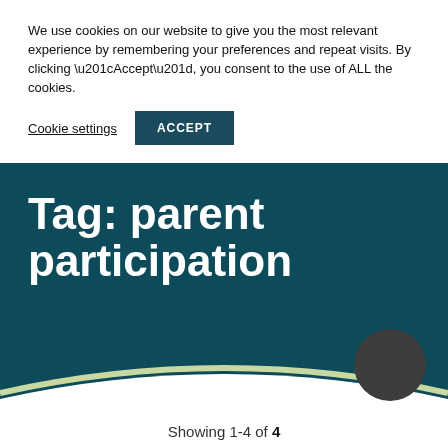We use cookies on our website to give you the most relevant experience by remembering your preferences and repeat visits. By clicking “Accept”, you consent to the use of ALL the cookies.
Cookie settings
ACCEPT
Tag: parent participation
Showing 1-4 of 4